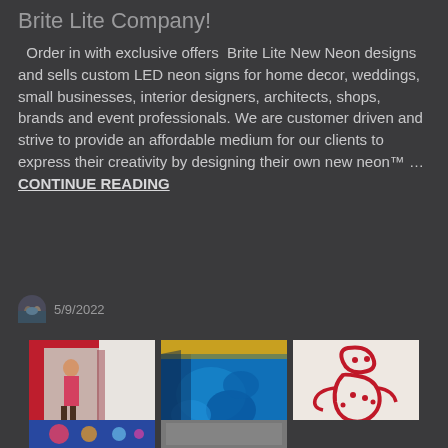Brite Lite Company!
Order in with exclusive offers Brite Lite New Neon designs and sells custom LED neon signs for home decor, weddings, small businesses, interior designers, architects, shops, brands and event professionals. We are customer driven and strive to provide an affordable medium for our clients to express their creativity by designing their own new neon™ … CONTINUE READING
5/9/2022
[Figure (photo): Artwork photo: portrait painting on red background mounted on wall]
[Figure (photo): Artwork photo: blue abstract painting with gold top edge]
[Figure (photo): Artwork photo: red abstract figure drawing on white background]
[Figure (photo): Bottom partial strip: colorful artwork thumbnails]